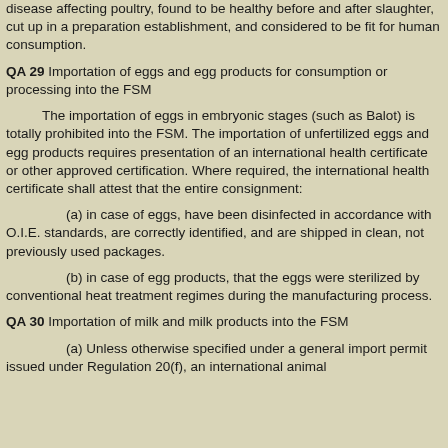disease affecting poultry, found to be healthy before and after slaughter, cut up in a preparation establishment, and considered to be fit for human consumption.
QA 29 Importation of eggs and egg products for consumption or processing into the FSM
The importation of eggs in embryonic stages (such as Balot) is totally prohibited into the FSM. The importation of unfertilized eggs and egg products requires presentation of an international health certificate or other approved certification. Where required, the international health certificate shall attest that the entire consignment:
(a) in case of eggs, have been disinfected in accordance with O.I.E. standards, are correctly identified, and are shipped in clean, not previously used packages.
(b) in case of egg products, that the eggs were sterilized by conventional heat treatment regimes during the manufacturing process.
QA 30 Importation of milk and milk products into the FSM
(a) Unless otherwise specified under a general import permit issued under Regulation 20(f), an international animal